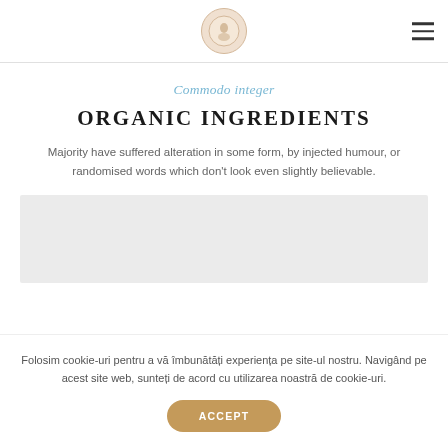[Figure (logo): Circular logo with figure silhouette on light peach background]
[Figure (other): Hamburger menu icon (three horizontal lines)]
Commodo integer
ORGANIC INGREDIENTS
Majority have suffered alteration in some form, by injected humour, or randomised words which don't look even slightly believable.
[Figure (other): Light grey placeholder image block]
Folosim cookie-uri pentru a vă îmbunătăți experiența pe site-ul nostru. Navigând pe acest site web, sunteți de acord cu utilizarea noastră de cookie-uri.
ACCEPT